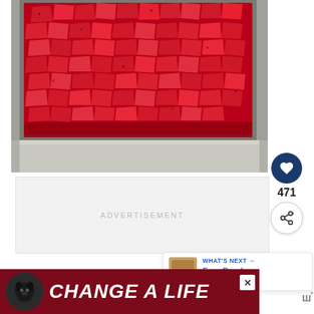[Figure (photo): Overhead view of diced/sliced fresh strawberries in a rectangular stainless steel baking pan with strawberry juices at the bottom]
471
ADVERTISEMENT
WHAT'S NEXT → Easy Peach Cobbler...
[Figure (photo): Advertisement banner with dark red background, black labrador dog, and text 'CHANGE A LIFE' in large white italic letters with a heart icon]